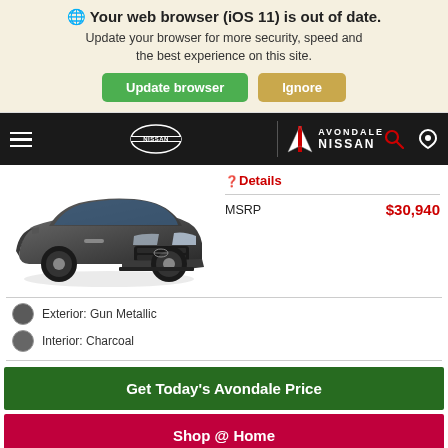Your web browser (iOS 11) is out of date. Update your browser for more security, speed and the best experience on this site.
[Figure (screenshot): Browser update warning banner with Update browser (green) and Ignore (tan) buttons]
[Figure (screenshot): Avondale Nissan dealership website navigation bar with hamburger menu, Nissan logo, Avondale Nissan logo, search icon, and location icon]
[Figure (photo): Dark gray/gunmetal Nissan SUV vehicle image (front 3/4 view)]
Details
MSRP $30,940
Exterior: Gun Metallic
Interior: Charcoal
Get Today's Avondale Price
Shop @ Home
Click to Call